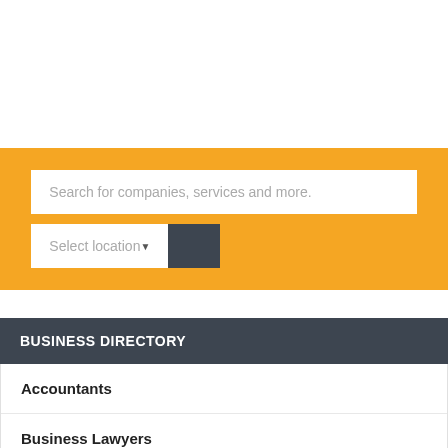Search for companies, services and more.
Select location
BUSINESS DIRECTORY
Accountants
Business Lawyers